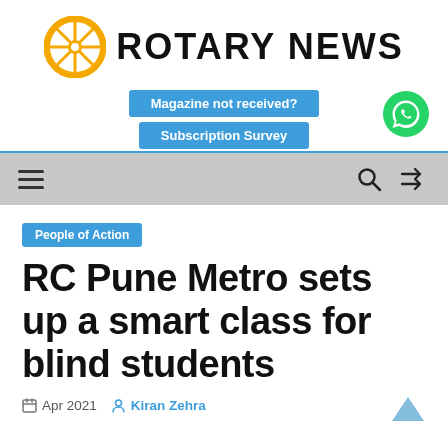ROTARY NEWS
Magazine not received?
Subscription Survey
People of Action
RC Pune Metro sets up a smart class for blind students
Apr 2021  Kiran Zehra